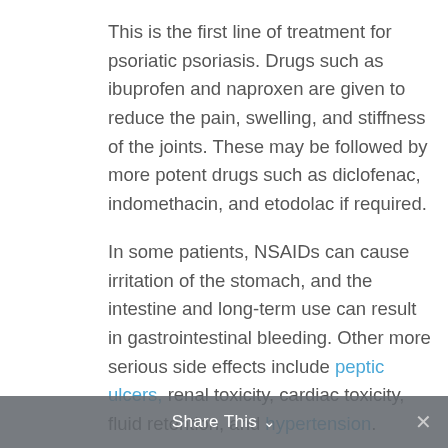This is the first line of treatment for psoriatic psoriasis. Drugs such as ibuprofen and naproxen are given to reduce the pain, swelling, and stiffness of the joints. These may be followed by more potent drugs such as diclofenac, indomethacin, and etodolac if required.
In some patients, NSAIDs can cause irritation of the stomach, and the intestine and long-term use can result in gastrointestinal bleeding. Other more serious side effects include peptic ulcers, renal toxicity, cardiac toxicity, fluid retention, and hypertension.
However, many doctors prescribe Cytotec and omeprazole to protect the GI tract. Not everyone will need these medicines but you should look for any symptoms that reflect those side effects.
Share This